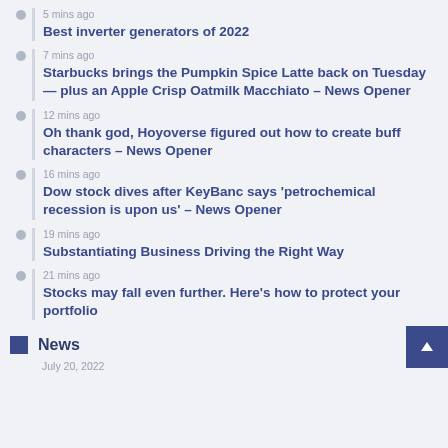Best inverter generators of 2022
Starbucks brings the Pumpkin Spice Latte back on Tuesday — plus an Apple Crisp Oatmilk Macchiato – News Opener
Oh thank god, Hoyoverse figured out how to create buff characters – News Opener
Dow stock dives after KeyBanc says 'petrochemical recession is upon us' – News Opener
Substantiating Business Driving the Right Way
Stocks may fall even further. Here's how to protect your portfolio
News
July 20, 2022